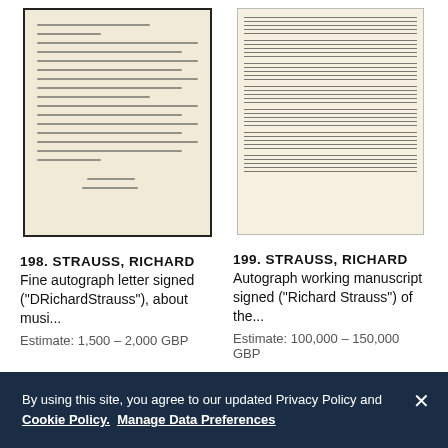[Figure (photo): Autograph handwritten letter with signature at bottom, cream/beige paper background, lot 198]
[Figure (photo): Autograph working manuscript with musical notation on cream paper, lot 199]
198. STRAUSS, RICHARD
Fine autograph letter signed ("DRichardStrauss"), about musi...
Estimate: 1,500 – 2,000 GBP
199. STRAUSS, RICHARD
Autograph working manuscript signed ("Richard Strauss") of the...
Estimate: 100,000 – 150,000 GBP
By using this site, you agree to our updated Privacy Policy and Cookie Policy. Manage Data Preferences